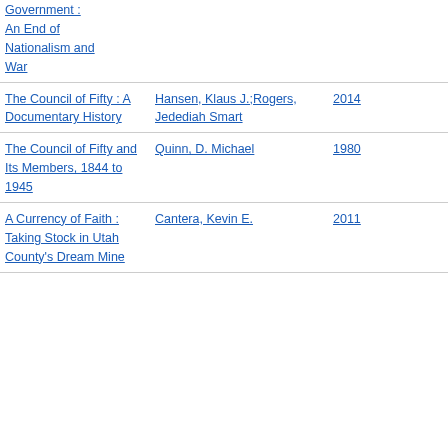Government : An End of Nationalism and War
The Council of Fifty : A Documentary History
Hansen, Klaus J.;Rogers, Jedediah Smart
2014
The Council of Fifty and Its Members, 1844 to 1945
Quinn, D. Michael
1980
A Currency of Faith : Taking Stock in Utah County's Dream Mine
Cantera, Kevin E.
2011